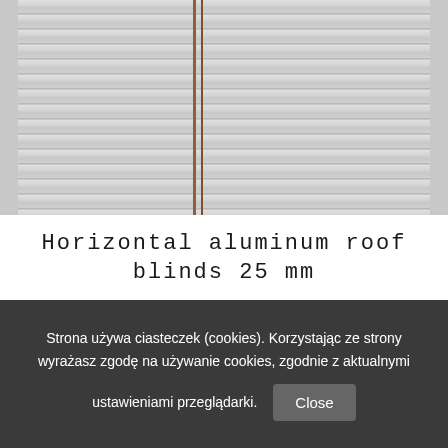[Figure (photo): Close-up photo of white horizontal venetian/aluminum blinds slats with a brown cord running vertically through them]
Horizontal aluminum roof blinds 25 mm
Strona używa ciasteczek (cookies). Korzystając ze strony wyrażasz zgodę na używanie cookies, zgodnie z aktualnymi ustawieniami przeglądarki. Close